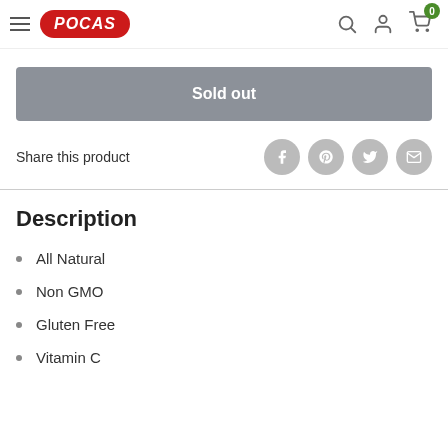POCAS — navigation header with hamburger menu, logo, search, account, and cart icons
Sold out
Share this product
Description
All Natural
Non GMO
Gluten Free
Vitamin C